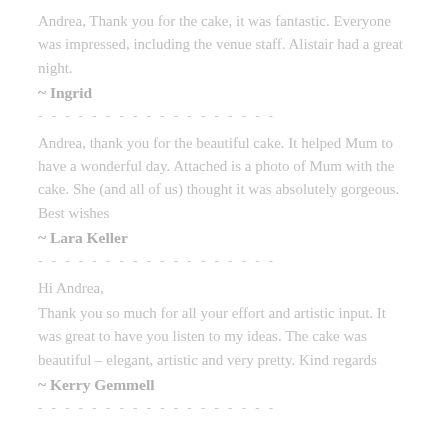Andrea, Thank you for the cake, it was fantastic. Everyone was impressed, including the venue staff. Alistair had a great night.
~ Ingrid
- - - - - - - - - - - - - - - - - -
Andrea, thank you for the beautiful cake. It helped Mum to have a wonderful day. Attached is a photo of Mum with the cake. She (and all of us) thought it was absolutely gorgeous. Best wishes
~ Lara Keller
- - - - - - - - - - - - - - - - - -
Hi Andrea,
Thank you so much for all your effort and artistic input. It was great to have you listen to my ideas. The cake was beautiful – elegant, artistic and very pretty. Kind regards
~ Kerry Gemmell
- - - - - - - - - - - - - - - - - -
...